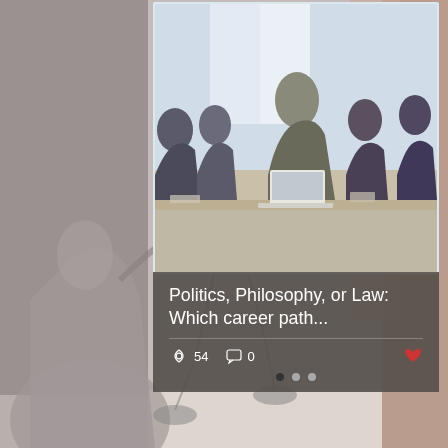[Figure (screenshot): A website content card showing a meeting/business photo at top and a dark overlay with article title 'Politics, Philosophy, or Law: Which career path...' with view count 54, comment count 0, and a heart/like icon. Below is a Lady Justice statue background. Pagination dots visible at bottom of card.]
Politics, Philosophy, or Law: Which career path...
54
0